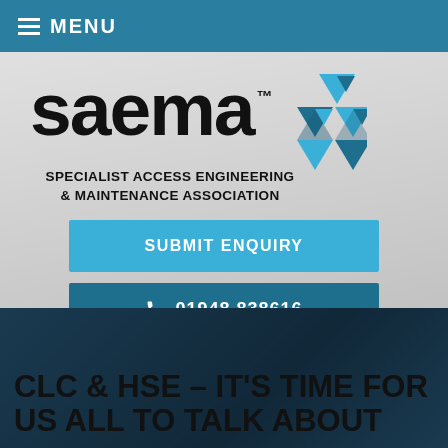MENU
[Figure (logo): SAEMA logo — 'saema' wordmark in bold black with TM symbol and teal triangular geometric icon to the right]
SPECIALIST ACCESS ENGINEERING & MAINTENANCE ASSOCIATION
SUBMIT ENQUIRY
01948 838616
[Figure (other): Social media icons: Facebook, Twitter, LinkedIn]
CLC & HSE – IT'S TIME FOR US ALL TO TALK ABOUT